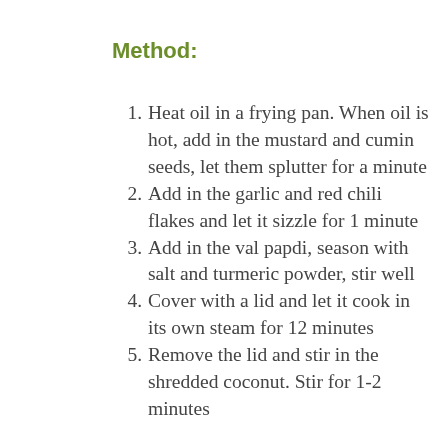Method:
Heat oil in a frying pan. When oil is hot, add in the mustard and cumin seeds, let them splutter for a minute
Add in the garlic and red chili flakes and let it sizzle for 1 minute
Add in the val papdi, season with salt and turmeric powder, stir well
Cover with a lid and let it cook in its own steam for 12 minutes
Remove the lid and stir in the shredded coconut. Stir for 1-2 minutes